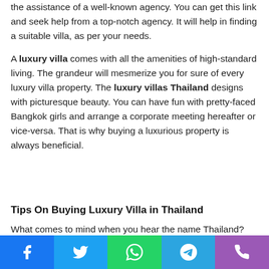the assistance of a well-known agency. You can get this link and seek help from a top-notch agency. It will help in finding a suitable villa, as per your needs.
A luxury villa comes with all the amenities of high-standard living. The grandeur will mesmerize you for sure of every luxury villa property. The luxury villas Thailand designs with picturesque beauty. You can have fun with pretty-faced Bangkok girls and arrange a corporate meeting hereafter or vice-versa. That is why buying a luxurious property is always beneficial.
Tips On Buying Luxury Villa in Thailand
What comes to mind when you hear the name Thailand?